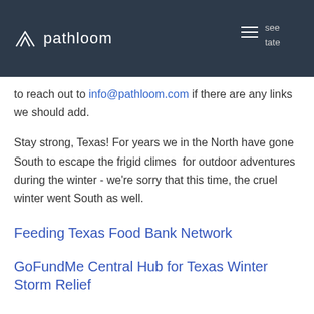pathloom
to reach out to info@pathloom.com if there are any links we should add.
Stay strong, Texas! For years we in the North have gone South to escape the frigid climes for outdoor adventures during the winter - we're sorry that this time, the cruel winter went South as well.
Feeding Texas Food Bank Network
GoFundMe Central Hub for Texas Winter Storm Relief